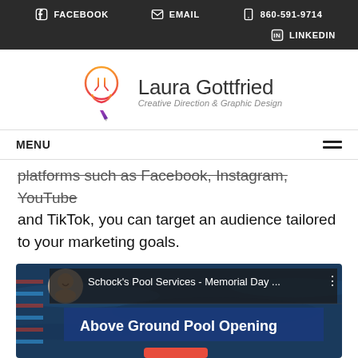FACEBOOK  EMAIL  860-591-9714  LINKEDIN
[Figure (logo): Laura Gottfried Creative Direction & Graphic Design logo with lightbulb icon]
MENU
platforms such as Facebook, Instagram, YouTube and TikTok, you can target an audience tailored to your marketing goals.
[Figure (screenshot): Schock's Pool Services - Memorial Day ... Above Ground Pool Opening video thumbnail screenshot]